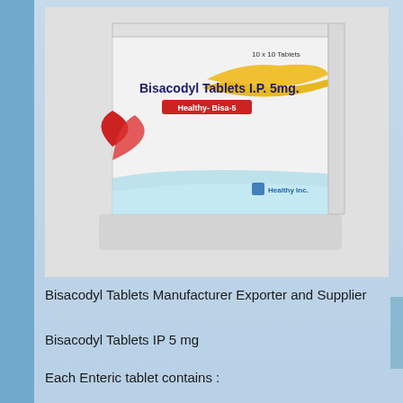[Figure (photo): Photo of Bisacodyl Tablets I.P. 5mg medicine box branded as Healthy-Bisa-5 by Healthy Inc., showing 10x10 Tablets packaging with red, yellow, and light blue wave design]
Bisacodyl Tablets Manufacturer Exporter and Supplier
Bisacodyl Tablets IP 5 mg
Each Enteric tablet contains :